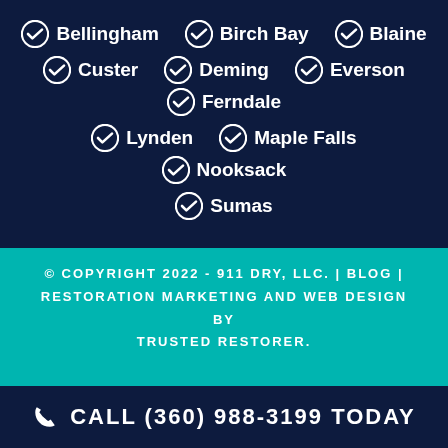Bellingham  Birch Bay  Blaine  Custer  Deming  Everson  Ferndale  Lynden  Maple Falls  Nooksack  Sumas
© COPYRIGHT 2022 - 911 DRY, LLC. | BLOG | RESTORATION MARKETING AND WEB DESIGN BY TRUSTED RESTORER.
CALL (360) 988-3199 TODAY